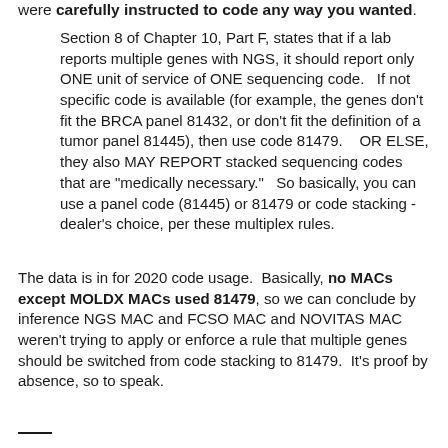were carefully instructed to code any way you wanted.
Section 8 of Chapter 10, Part F, states that if a lab reports multiple genes with NGS, it should report only ONE unit of service of ONE sequencing code.   If not specific code is available (for example, the genes don't fit the BRCA panel 81432, or don't fit the definition of a tumor panel 81445), then use code 81479.    OR ELSE, they also MAY REPORT stacked sequencing codes that are "medically necessary."   So basically, you can use a panel code (81445) or 81479 or code stacking - dealer's choice, per these multiplex rules.
The data is in for 2020 code usage.  Basically, no MACs except MOLDX MACs used 81479, so we can conclude by inference NGS MAC and FCSO MAC and NOVITAS MAC weren't trying to apply or enforce a rule that multiple genes should be switched from code stacking to 81479.  It's proof by absence, so to speak.